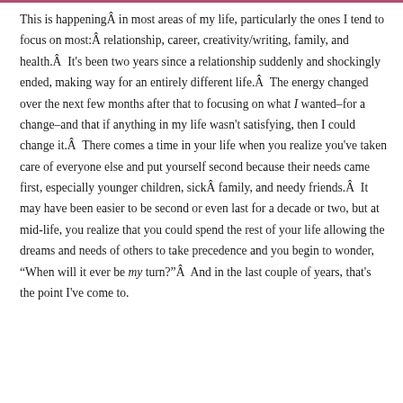This is happeningÂ in most areas of my life, particularly the ones I tend to focus on most:Â relationship, career, creativity/writing, family, and health.Â  It's been two years since a relationship suddenly and shockingly ended, making way for an entirely different life.Â  The energy changed over the next few months after that to focusing on what I wanted–for a change–and that if anything in my life wasn't satisfying, then I could change it.Â  There comes a time in your life when you realize you've taken care of everyone else and put yourself second because their needs came first, especially younger children, sickÂ family, and needy friends.Â  It may have been easier to be second or even last for a decade or two, but at mid-life, you realize that you could spend the rest of your life allowing the dreams and needs of others to take precedence and you begin to wonder, "When will it ever be my turn?"Â  And in the last couple of years, that's the point I've come to.